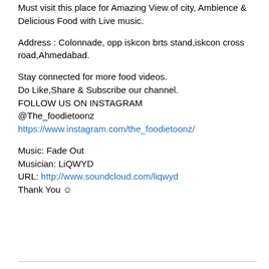Must visit this place for Amazing View of city, Ambience & Delicious Food with Live music.
Address : Colonnade, opp iskcon brts stand,iskcon cross road,Ahmedabad.
Stay connected for more food videos.
Do Like,Share & Subscribe our channel.
FOLLOW US ON INSTAGRAM
@The_foodietoonz
https://www.instagram.com/the_foodietoonz/
Music: Fade Out
Musician: LiQWYD
URL: http://www.soundcloud.com/liqwyd
Thank You ☺